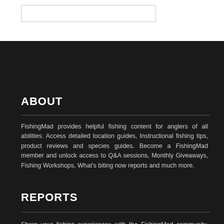[Figure (other): Search box UI element on white background]
ABOUT
FishingMad provides helpful fishing content for anglers of all abilities. Access detailed location guides, Instructional fishing tips, product reviews and species guides. Become a FishingMad member and unlock access to Q&A sessions, Monthly Giveaways, Fishing Workshops, What's biting now reports and much more.
REPORTS
Share your fishing experiences with the FishingMad community. Send your reports, pictures, videos and product reviews to reports@fishingmad.com.au